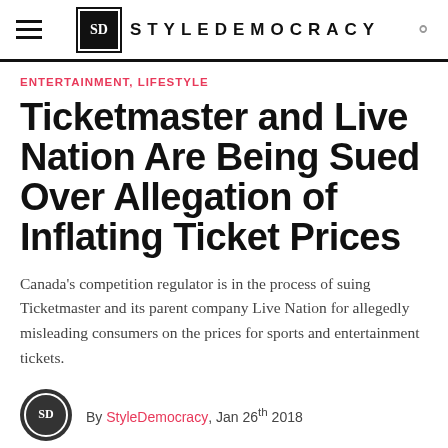SD STYLEDEMOCRACY
ENTERTAINMENT, LIFESTYLE
Ticketmaster and Live Nation Are Being Sued Over Allegation of Inflating Ticket Prices
Canada’s competition regulator is in the process of suing Ticketmaster and its parent company Live Nation for allegedly misleading consumers on the prices for sports and entertainment tickets.
By StyleDemocracy, Jan 26th 2018